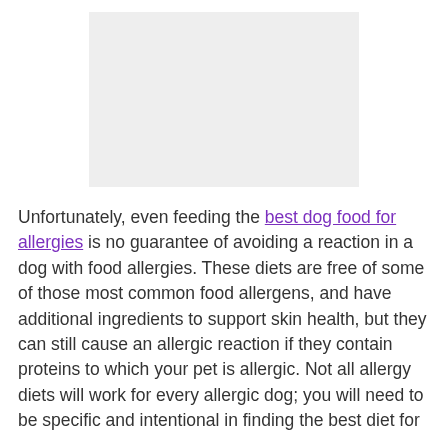[Figure (other): Gray placeholder image rectangle at top of page]
Unfortunately, even feeding the best dog food for allergies is no guarantee of avoiding a reaction in a dog with food allergies. These diets are free of some of those most common food allergens, and have additional ingredients to support skin health, but they can still cause an allergic reaction if they contain proteins to which your pet is allergic. Not all allergy diets will work for every allergic dog; you will need to be specific and intentional in finding the best diet for